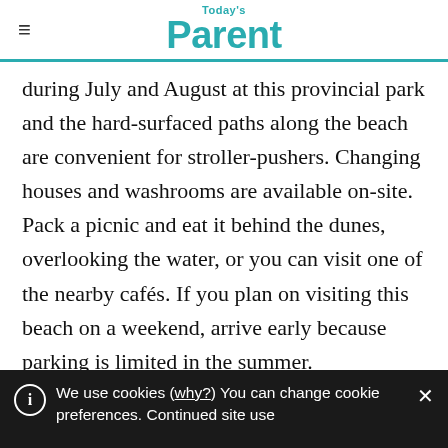Today's Parent
during July and August at this provincial park and the hard-surfaced paths along the beach are convenient for stroller-pushers. Changing houses and washrooms are available on-site. Pack a picnic and eat it behind the dunes, overlooking the water, or you can visit one of the nearby cafés. If you plan on visiting this beach on a weekend, arrive early because parking is limited in the summer.
We use cookies (why?) You can change cookie preferences. Continued site use